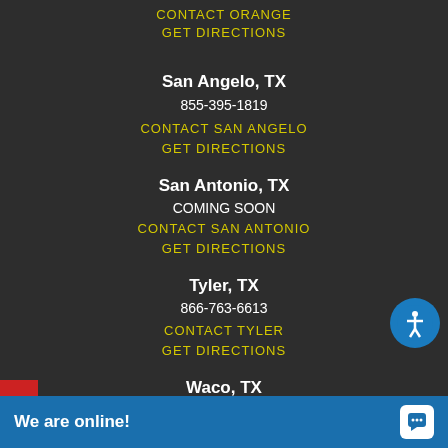CONTACT ORANGE
GET DIRECTIONS
San Angelo, TX
855-395-1819
CONTACT SAN ANGELO
GET DIRECTIONS
San Antonio, TX
COMING SOON
CONTACT SAN ANTONIO
GET DIRECTIONS
Tyler, TX
866-763-6613
CONTACT TYLER
GET DIRECTIONS
Waco, TX
855-395-1861
TEXT US
We are online!